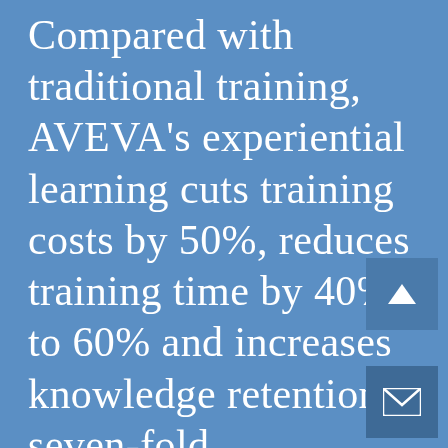Compared with traditional training, AVEVA's experiential learning cuts training costs by 50%, reduces training time by 40% to 60% and increases knowledge retention seven-fold.